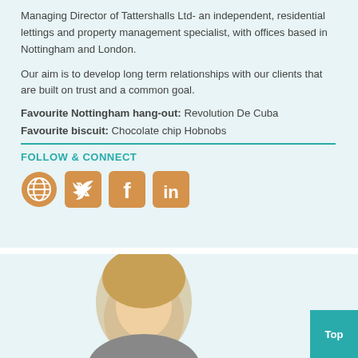Managing Director of Tattershalls Ltd- an independent, residential lettings and property management specialist, with offices based in Nottingham and London.
Our aim is to develop long term relationships with our clients that are built on trust and a common goal.
Favourite Nottingham hang-out: Revolution De Cuba
Favourite biscuit: Chocolate chip Hobnobs
FOLLOW & CONNECT
[Figure (illustration): Four social media icons: globe/website, Twitter, Facebook, LinkedIn — all in orange/gold square tiles except the globe which is orange circular.]
[Figure (photo): Partial view of a person (woman with blonde hair) at bottom of page, cropped.]